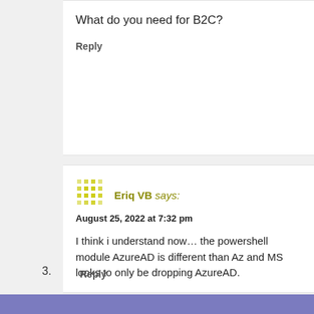What do you need for B2C?
Reply
Eriq VB says:
August 25, 2022 at 7:32 pm
I think i understand now… the powershell module AzureAD is different than Az and MS looks to only be dropping AzureAD.

For B2C i need to add/update/remove B2C users. Not sure yet how to do this with MG, or if possible. Seems like its only available with AzureAD.
Reply